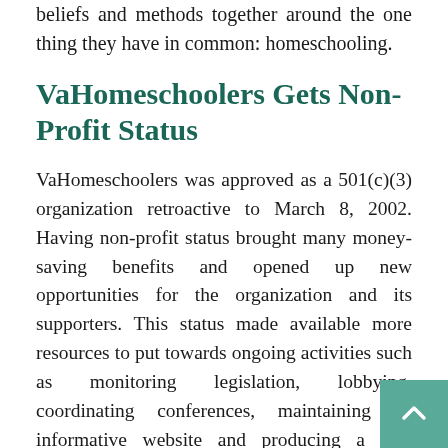beliefs and methods together around the one thing they have in common: homeschooling.
VaHomeschoolers Gets Non-Profit Status
VaHomeschoolers was approved as a 501(c)(3) organization retroactive to March 8, 2002. Having non-profit status brought many money-saving benefits and opened up new opportunities for the organization and its supporters. This status made available more resources to put towards ongoing activities such as monitoring legislation, lobbying, coordinating conferences, maintaining an informative website and producing a top-quality newsletter. Members and other supporters received direct benefit as well since all